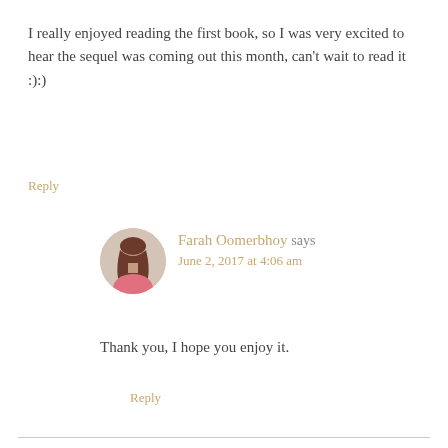I really enjoyed reading the first book, so I was very excited to hear the sequel was coming out this month, can't wait to read it :):)
Reply
Farah Oomerbhoy says
June 2, 2017 at 4:06 am
Thank you, I hope you enjoy it.
Reply